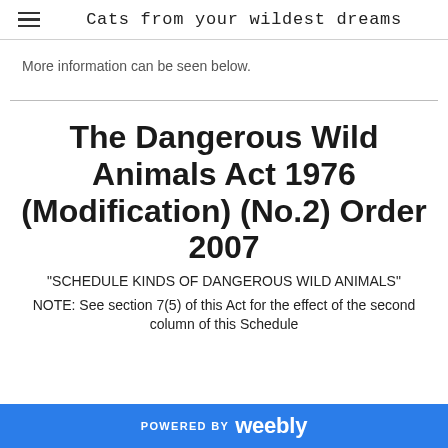Cats from your wildest dreams
More information can be seen below.
The Dangerous Wild Animals Act 1976 (Modification) (No.2) Order 2007
"SCHEDULE KINDS OF DANGEROUS WILD ANIMALS"
NOTE: See section 7(5) of this Act for the effect of the second column of this Schedule
POWERED BY weebly